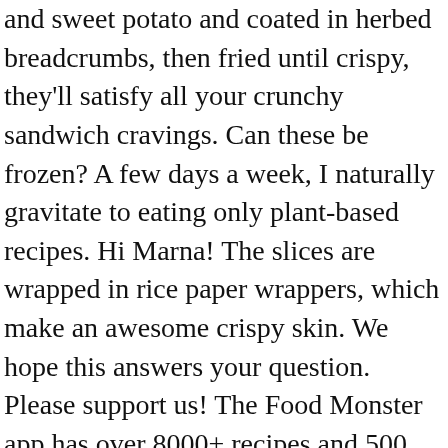and sweet potato and coated in herbed breadcrumbs, then fried until crispy, they'll satisfy all your crunchy sandwich cravings. Can these be frozen? A few days a week, I naturally gravitate to eating only plant-based recipes. Hi Marna! The slices are wrapped in rice paper wrappers, which make an awesome crispy skin. We hope this answers your question. Please support us! The Food Monster app has over 8000+ recipes and 500 are free. :). Chunks of tender plant-based Barbecue Chick'n are smothered in the smoky sauce with just the right balance of sweet and tangy. :). Steam for 30 minutes. Thank you for the recipe! You can give meatless Mondays a try. Whisk well to ... The good news is that it's very high in protein and low in carbs. It will try and shrink, just keep pressing it back. www.eatingwell.com/gallery/12307/easy-plant-based-